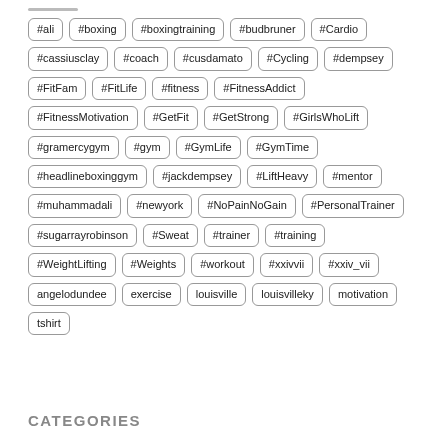#ali, #boxing, #boxingtraining, #budbruner, #Cardio, #cassiusclay, #coach, #cusdamato, #Cycling, #dempsey, #FitFam, #FitLife, #fitness, #FitnessAddict, #FitnessMotivation, #GetFit, #GetStrong, #GirlsWhoLift, #gramercygym, #gym, #GymLife, #GymTime, #headlineboxinggym, #jackdempsey, #LiftHeavy, #mentor, #muhammadali, #newyork, #NoPainNoGain, #PersonalTrainer, #sugarrayrobinson, #Sweat, #trainer, #training, #WeightLifting, #Weights, #workout, #xxivvii, #xxiv_vii, angelodundee, exercise, louisville, louisvilleky, motivation, tshirt
CATEGORIES